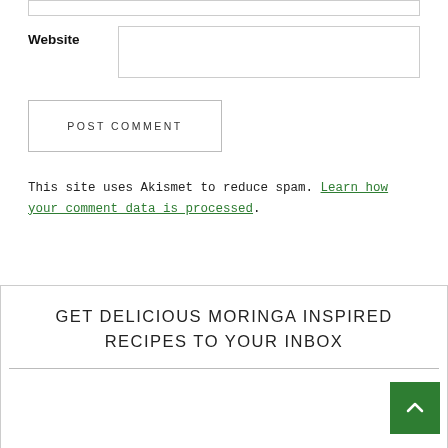Website
POST COMMENT
This site uses Akismet to reduce spam. Learn how your comment data is processed.
GET DELICIOUS MORINGA INSPIRED RECIPES TO YOUR INBOX